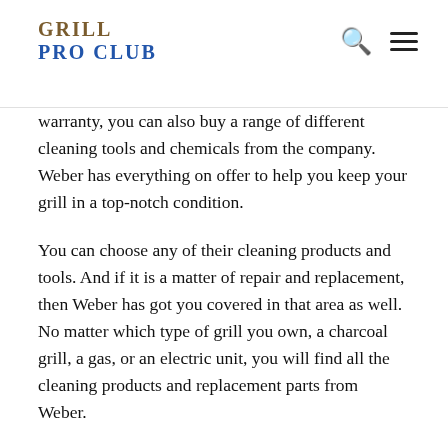GRILL PRO CLUB
warranty, you can also buy a range of different cleaning tools and chemicals from the company. Weber has everything on offer to help you keep your grill in a top-notch condition.
You can choose any of their cleaning products and tools. And if it is a matter of repair and replacement, then Weber has got you covered in that area as well. No matter which type of grill you own, a charcoal grill, a gas, or an electric unit, you will find all the cleaning products and replacement parts from Weber.
You May Like:  Pork On Grill Temp
Clean The Lids Inside